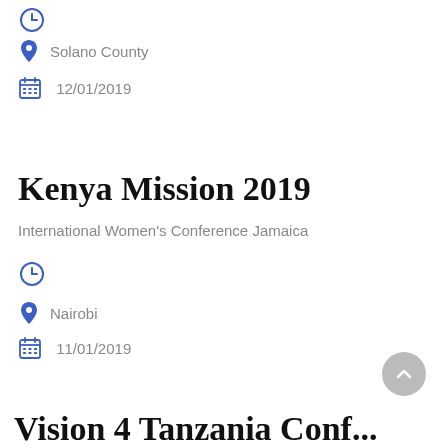clock icon (top)
Solano County
12/01/2019
Kenya Mission 2019
International Women's Conference Jamaica
clock icon
Nairobi
11/01/2019
Vision 4 Tanzania Conf...